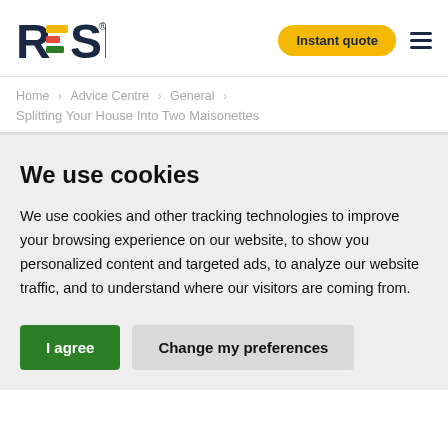RESI — Instant quote | navigation menu
Home > Advice Centre > General > Splitting Your House Into Two Maisonettes
We use cookies
We use cookies and other tracking technologies to improve your browsing experience on our website, to show you personalized content and targeted ads, to analyze our website traffic, and to understand where our visitors are coming from.
I agree | Change my preferences